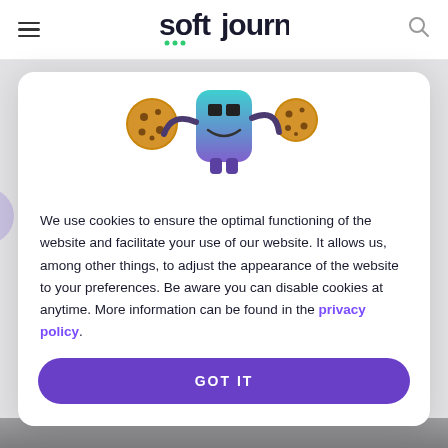soft journ
[Figure (illustration): A cartoon robot mascot holding two chocolate chip cookies, one in each hand, with a teal/purple color scheme and a smiling face]
We use cookies to ensure the optimal functioning of the website and facilitate your use of our website. It allows us, among other things, to adjust the appearance of the website to your preferences. Be aware you can disable cookies at anytime. More information can be found in the privacy policy.
GOT IT